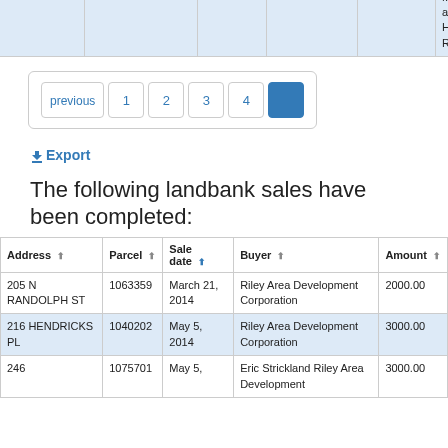|  | Address | Zip | Type | Amount | Buyer |
| --- | --- | --- | --- | --- | --- |
| 1033397 | 253 N OXFORD ST | 46201 | Vacant Lot | 3500.00 | Englewood Community Development Corporation |
| 1078459 | 214 N OAKLAND AVE | 46201 | Vacant Lot | 3500.00 | Abby Hayes - Benjamin Hayes and Mitch and Hillary Roper |
previous 1 2 3 4 [5 active]
Export
The following landbank sales have been completed:
| Address | Parcel | Sale date | Buyer | Amount |
| --- | --- | --- | --- | --- |
| 205 N RANDOLPH ST | 1063359 | March 21, 2014 | Riley Area Development Corporation | 2000.00 |
| 216 HENDRICKS PL | 1040202 | May 5, 2014 | Riley Area Development Corporation | 3000.00 |
| 246 | 1075701 | May 5, | Eric Strickland Riley Area Development | 3000.00 |